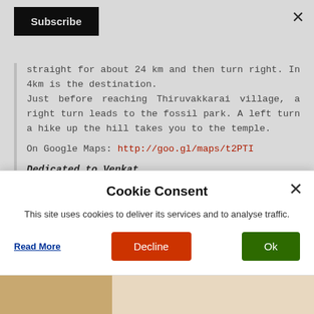[Figure (screenshot): Subscribe button (black) in top left area of page]
straight for about 24 km and then turn right. In 4km is the destination.
Just before reaching Thiruvakkarai village, a right turn leads to the fossil park. A left turn a hike up the hill takes you to the temple.
On Google Maps: http://goo.gl/maps/t2PTI
Dedicated to Venkat
Cookie Consent
This site uses cookies to deliver its services and to analyse traffic.
Read More | Decline | Ok